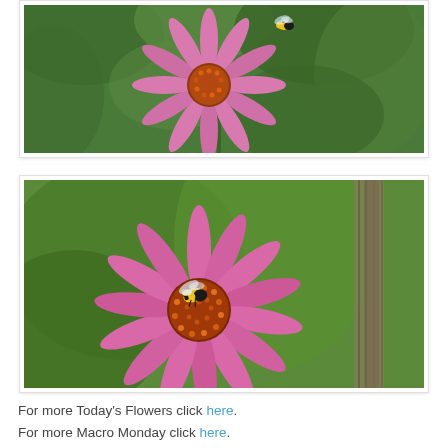[Figure (photo): Close-up photo of a purple coneflower (echinacea) with a bumblebee flying above it, green leafy background, partial top crop]
[Figure (photo): Close-up macro photo of a purple coneflower (echinacea) with a bumblebee sitting on the orange spiny center, green blurred background with a dried seed pod on the right]
For more Today's Flowers click here. For more Macro Monday click here.